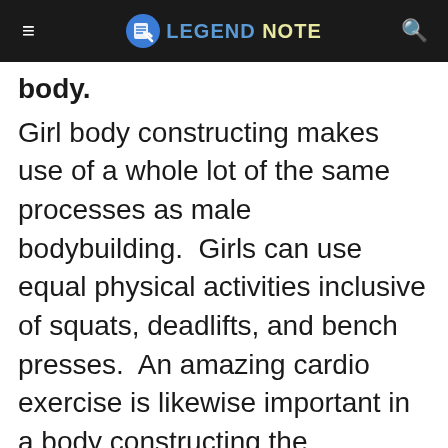LEGEND NOTE
body.
Girl body constructing makes use of a whole lot of the same processes as male bodybuilding.  Girls can use equal physical activities inclusive of squats, deadlifts, and bench presses.  An amazing cardio exercise is likewise important in a body constructing the program.  Women need to consciousness at the muscle mass that they want to tone inclusive of thighs and buttocks as well as fingers and abs.